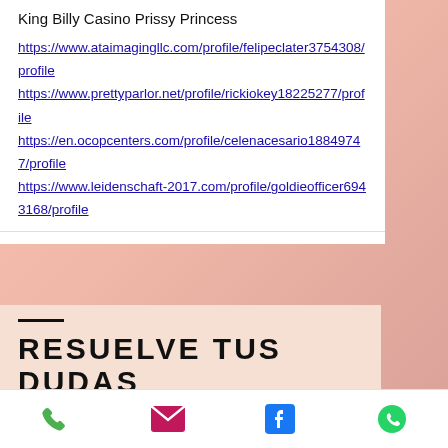King Billy Casino Prissy Princess
https://www.ataimagingllc.com/profile/felipeclater3754308/profile https://www.prettyparlor.net/profile/rickiokey18225277/profile https://en.ocopcenters.com/profile/celenacesario18849747/profile https://www.leidenschaft-2017.com/profile/goldieofficer6943168/profile
RESUELVE TUS DUDAS
¿Quieres saber más sobre nuestra forma de trabajar o nuestros servicios? ¡Pues